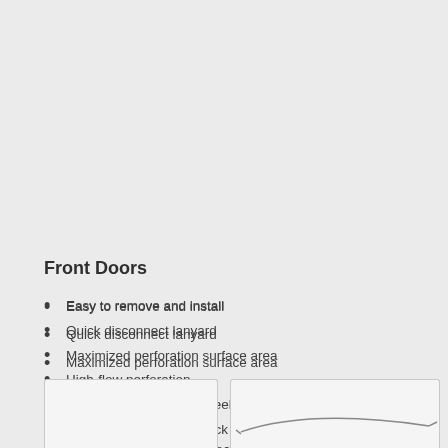Front Doors
Easy to remove and install
Quick disconnect lanyard
Maximized perforation surface area
High-flow perforation
High aesthetic look and feel
One door with multiple lock options (Swing handle, combo, & HFID - See 'Physical Security')
[Figure (photo): Photo of front door (left panel), partially visible at bottom of page]
[Figure (photo): Photo of front door (right panel) showing a curved/sweep handle line, partially visible at bottom of page]